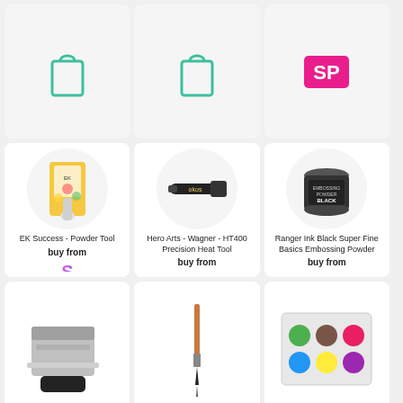[Figure (other): Shopping bag icon (teal outline) on grey background]
[Figure (other): Shopping bag icon (teal outline) on grey background]
[Figure (other): SP logo pink/magenta square on grey background]
[Figure (photo): EK Success Powder Tool product in yellow packaging]
EK Success - Powder Tool
buy from
[Figure (logo): Stylemaker S rainbow logo]
[Figure (photo): Hero Arts Wagner HT400 Precision Heat Tool - black pen-style heat tool]
Hero Arts - Wagner - HT400 Precision Heat Tool
buy from
[Figure (logo): Stylemaker S rainbow logo]
[Figure (photo): Ranger Ink Black Super Fine Basics Embossing Powder jar]
Ranger Ink Black Super Fine Basics Embossing Powder
buy from
[Figure (logo): Stylemaker S rainbow logo]
[Figure (photo): Metal scraper/smoother tool]
[Figure (photo): Fine detail paint brush with wooden handle]
[Figure (photo): Assorted small round embellishments/buttons in colorful pack]